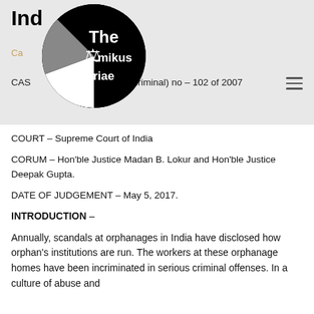Ind...
Ca...
CAS... ion (criminal) no – 102 of 2007
[Figure (logo): The Amikus Qriae logo — circular black and white emblem with scales of justice icon and text 'The Amikus Qriae']
COURT – Supreme Court of India
CORUM – Hon'ble Justice Madan B. Lokur and Hon'ble Justice Deepak Gupta.
DATE OF JUDGEMENT – May 5, 2017.
INTRODUCTION –
Annually, scandals at orphanages in India have disclosed how orphan's institutions are run. The workers at these orphanage homes have been incriminated in serious criminal offenses. In a culture of abuse and